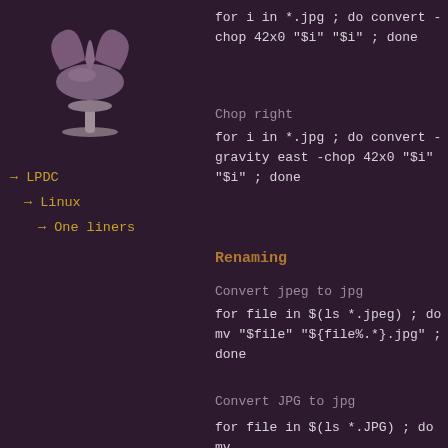[Figure (illustration): A stylized purple/mauve chair with a round seat, curved back and a pedestal base on a white circular base, rendered as a 3D icon.]
→ LPDC
→ Linux
→ One liners
Chop right
for i in *.jpg ; do convert -chop 42x0 "$i" "$i" ; done
Chop right
for i in *.jpg ; do convert -gravity east -chop 42x0 "$i" "$i" ; done
Renaming
Convert jpeg to jpg
for file in $(ls *.jpeg) ; do mv "$file" "${file%.*}.jpg" ; done
Convert JPG to jpg
for file in $(ls *.JPG) ; do mv